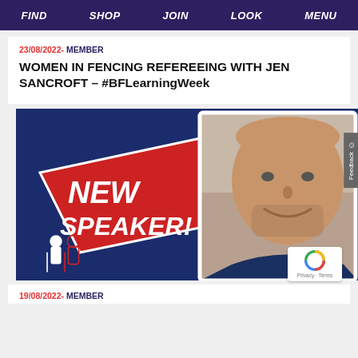FIND   SHOP   JOIN   LOOK   MENU
23/08/2022 - MEMBER
WOMEN IN FENCING REFEREEING WITH JEN SANCROFT – #BFLearningWeek
[Figure (photo): Promotional graphic with dark blue background, red geometric banner reading NEW SPEAKER!, a speaker silhouette logo, and a photo of a smiling bald man with stubble beard.]
19/08/2022 - MEMBER